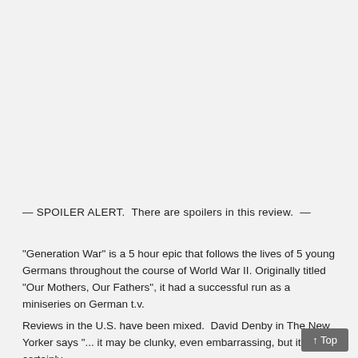— SPOILER ALERT.  There are spoilers in this review.  —
“Generation War” is a 5 hour epic that follows the lives of 5 young Germans throughout the course of World War II. Originally titled “Our Mothers, Our Fathers”, it had a successful run as a miniseries on German t.v.
Reviews in the U.S. have been mixed.  David Denby in The New Yorker says “... it may be clunky, even embarrassing, but it’s certainly